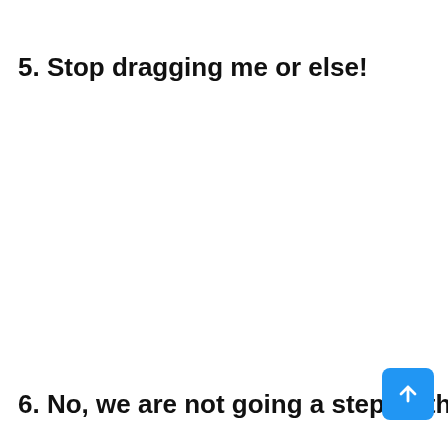5. Stop dragging me or else!
6. No, we are not going a step further!